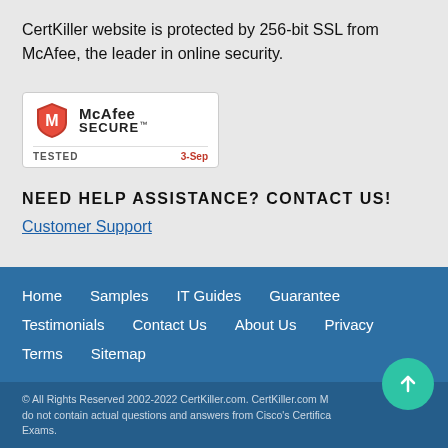CertKiller website is protected by 256-bit SSL from McAfee, the leader in online security.
[Figure (logo): McAfee SECURE badge with shield logo, 'TESTED' label and '3-Sep' date]
NEED HELP ASSISTANCE? CONTACT US!
Customer Support
Home   Samples   IT Guides   Guarantee   Testimonials   Contact Us   About Us   Privacy   Terms   Sitemap
© All Rights Reserved 2002-2022 CertKiller.com. CertKiller.com Materials do not contain actual questions and answers from Cisco's Certification Exams.